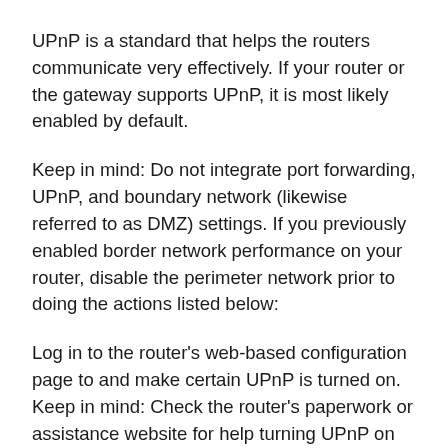UPnP is a standard that helps the routers communicate very effectively. If your router or the gateway supports UPnP, it is most likely enabled by default.
Keep in mind: Do not integrate port forwarding, UPnP, and boundary network (likewise referred to as DMZ) settings. If you previously enabled border network performance on your router, disable the perimeter network prior to doing the actions listed below:
Log in to the router's web-based configuration page to and make certain UPnP is turned on. Keep in mind: Check the router's paperwork or assistance website for help turning UPnP on for the very first time, or off and then back on. Make